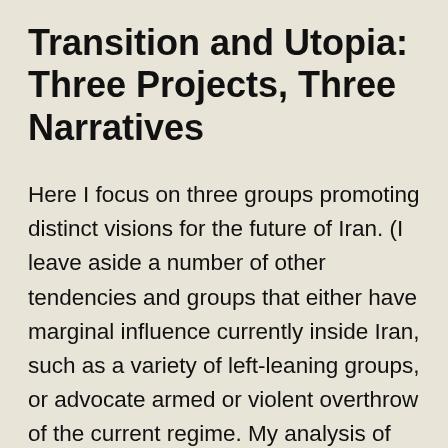Transition and Utopia: Three Projects, Three Narratives
Here I focus on three groups promoting distinct visions for the future of Iran. (I leave aside a number of other tendencies and groups that either have marginal influence currently inside Iran, such as a variety of left-leaning groups, or advocate armed or violent overthrow of the current regime. My analysis of the three groups concurs with Mehran Kamrava's excellent 2008 survey, Iran's Intellectual Revolution, and to which I refer interested readers for greater detail.) The velayi (or velayat madar) Islamists